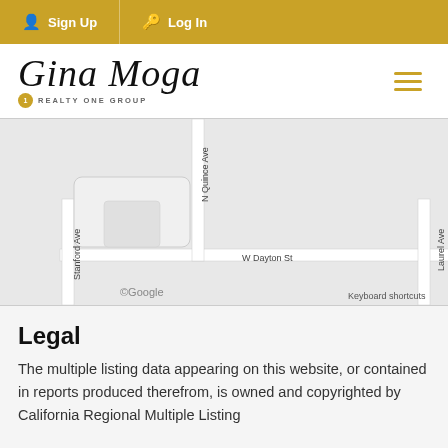Sign Up  Log In
[Figure (logo): Gina Moga Realty One Group logo with cursive text and badge]
[Figure (map): Google Maps street map showing location near N Quince Ave, W Dayton St, Euclid Ave, N 1st Ave, Stanford Ave. Map data ©2022. Includes home marker pin, street view figure, zoom controls, keyboard shortcuts and Terms of Use labels.]
Legal
The multiple listing data appearing on this website, or contained in reports produced therefrom, is owned and copyrighted by California Regional Multiple Listing